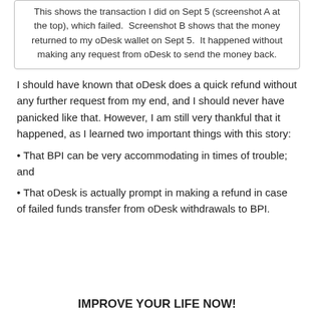This shows the transaction I did on Sept 5 (screenshot A at the top), which failed. Screenshot B shows that the money returned to my oDesk wallet on Sept 5. It happened without making any request from oDesk to send the money back.
I should have known that oDesk does a quick refund without any further request from my end, and I should never have panicked like that. However, I am still very thankful that it happened, as I learned two important things with this story:
• That BPI can be very accommodating in times of trouble; and
• That oDesk is actually prompt in making a refund in case of failed funds transfer from oDesk withdrawals to BPI.
IMPROVE YOUR LIFE NOW!